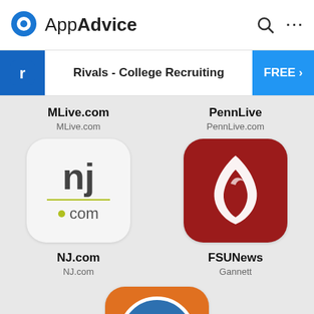AppAdvice
[Figure (screenshot): AppAdvice app store listing page showing Rivals - College Recruiting banner ad and app icons for NJ.com, FSUNews (Gannett), and Brownie News]
Rivals - College Recruiting
FREE >
MLive.com
MLive.com
PennLive
PennLive.com
NJ.com
NJ.com
FSUNews
Gannett
Brownie News